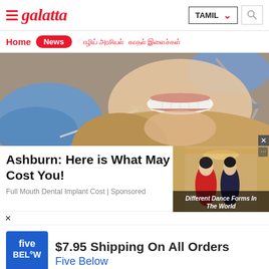galatta — TAMIL
Home | News
[Figure (photo): Dental procedure photo: gloved hands holding dental tools near a woman's open mouth with white teeth]
Ashburn: Here is What May Cost You!
Full Mouth Dental Implant Cost | Sponsored
[Figure (photo): Video thumbnail showing two dancers in formal attire in an ornate ballroom]
Different Dance Forms In The World
[Figure (logo): Five Below blue logo square]
$7.95 Shipping On All Orders
Five Below